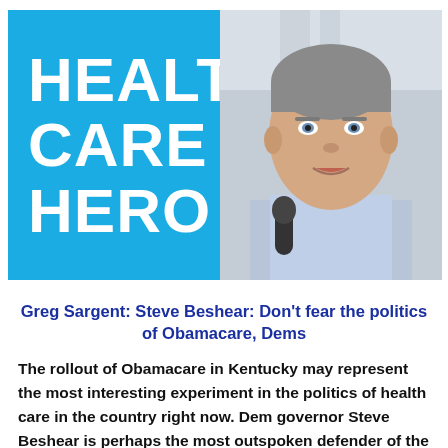[Figure (photo): Blue box with bold white text reading HEALTH CARE HERO on the left, and a photograph of a grey-haired man (Steve Beshear) speaking into a microphone on the right.]
Greg Sargent: Steve Beshear: Don't fear the politics of Obamacare, Dems
The rollout of Obamacare in Kentucky may represent the most interesting experiment in the politics of health care in the country right now. Dem governor Steve Beshear is perhaps the most outspoken defender of the Affordable Care Act in the south. This, in a deep red state where the